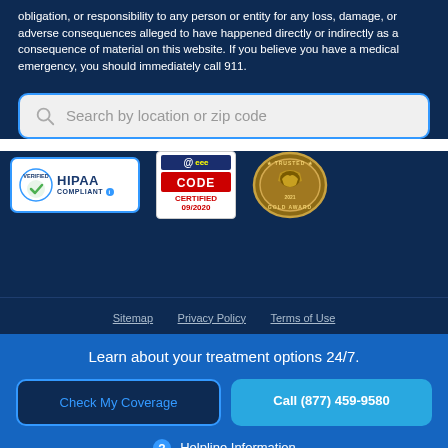obligation, or responsibility to any person or entity for any loss, damage, or adverse consequences alleged to have happened directly or indirectly as a consequence of material on this website. If you believe you have a medical emergency, you should immediately call 911.
[Figure (screenshot): Search bar with placeholder text 'Search by location or zip code' with magnifying glass icon, blue border on light grey background]
[Figure (logo): Three certification badges: HIPAA Verified Compliant badge, @code CERTIFIED 09/2020 badge, and a gold award seal for 2021]
Sitemap   Privacy Policy   Terms of Use
Learn about your treatment options 24/7.
Check My Coverage
Call (877) 459-9580
Helpline Information